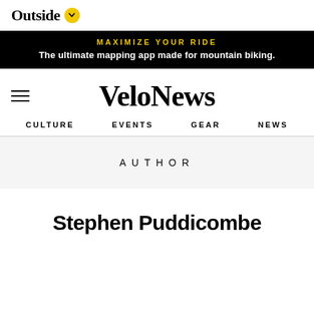Outside
[Figure (infographic): Black banner advertisement reading MAXIMIZE YOUR RIDE - The ultimate mapping app made for mountain biking.]
VeloNews
CULTURE   EVENTS   GEAR   NEWS
AUTHOR
Stephen Puddicombe